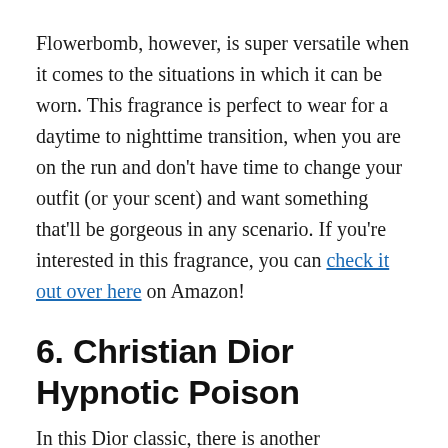Flowerbomb, however, is super versatile when it comes to the situations in which it can be worn. This fragrance is perfect to wear for a daytime to nighttime transition, when you are on the run and don't have time to change your outfit (or your scent) and want something that'll be gorgeous in any scenario. If you're interested in this fragrance, you can check it out over here on Amazon!
6. Christian Dior Hypnotic Poison
In this Dior classic, there is another instinctively alluring type of name. Hypnotic Poison immediately evokes ideas of the forbidden fruit and dangerous desire. Released in 1998, Hypnotic Poison has long...